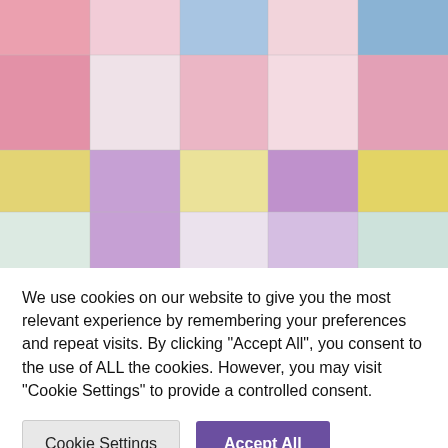[Figure (photo): Close-up photograph of a colorful patchwork quilt with pastel squares including pink, white, blue, yellow, purple, and mint green fabric patches arranged in a grid pattern.]
We use cookies on our website to give you the most relevant experience by remembering your preferences and repeat visits. By clicking "Accept All", you consent to the use of ALL the cookies. However, you may visit "Cookie Settings" to provide a controlled consent.